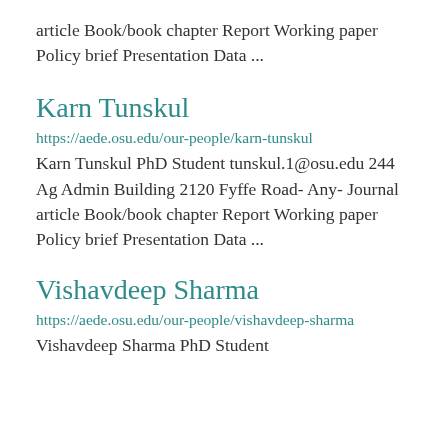article Book/book chapter Report Working paper Policy brief Presentation Data ...
Karn Tunskul
https://aede.osu.edu/our-people/karn-tunskul
Karn Tunskul PhD Student tunskul.1@osu.edu 244 Ag Admin Building 2120 Fyffe Road- Any- Journal article Book/book chapter Report Working paper Policy brief Presentation Data ...
Vishavdeep Sharma
https://aede.osu.edu/our-people/vishavdeep-sharma
Vishavdeep Sharma PhD Student